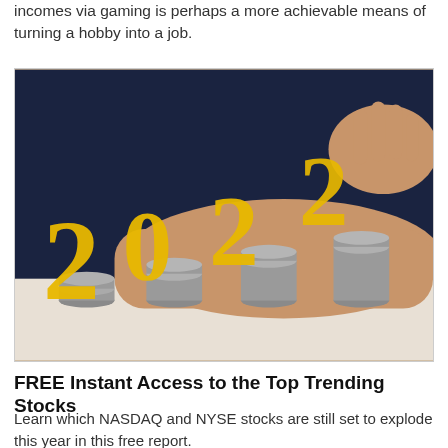incomes via gaming is perhaps a more achievable means of turning a hobby into a job.
[Figure (photo): A hand placing a yellow '2' digit on top of four stacks of coins, spelling out '2022' with yellow numerical figures resting on progressively taller coin stacks against a dark blue background.]
FREE Instant Access to the Top Trending Stocks
Learn which NASDAQ and NYSE stocks are still set to explode this year in this free report.